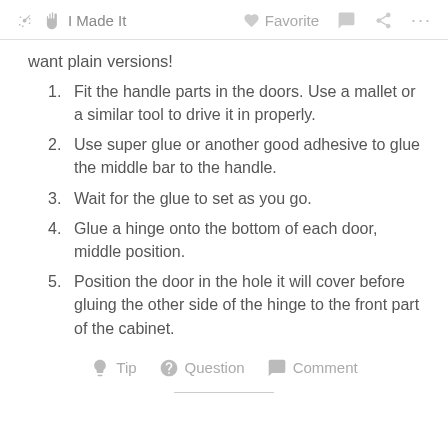✋ I Made It   ♡ Favorite  💬  ⋯
want plain versions!
Fit the handle parts in the doors. Use a mallet or a similar tool to drive it in properly.
Use super glue or another good adhesive to glue the middle bar to the handle.
Wait for the glue to set as you go.
Glue a hinge onto the bottom of each door, middle position.
Position the door in the hole it will cover before gluing the other side of the hinge to the front part of the cabinet.
💡 Tip  ❓ Question  💬 Comment